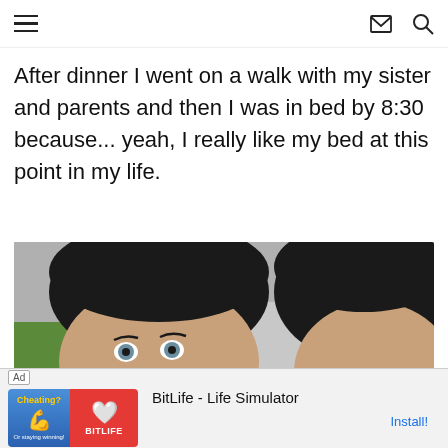navigation bar with hamburger menu, mail icon, search icon
After dinner I went on a walk with my sister and parents and then I was in bed by 8:30 because... yeah, I really like my bed at this point in my life.
[Figure (photo): Selfie photo of two dark-haired women outdoors, close-up of faces, one with blue/green eyes in foreground]
Ad  BitLife - Life Simulator  Install!